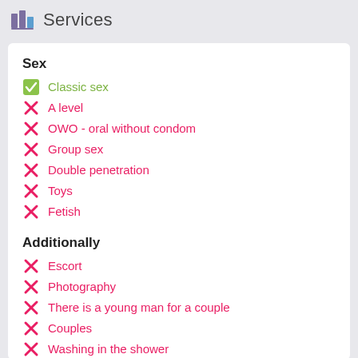Services
Sex
Classic sex
A level
OWO - oral without condom
Group sex
Double penetration
Toys
Fetish
Additionally
Escort
Photography
There is a young man for a couple
Couples
Washing in the shower
Pipshaw